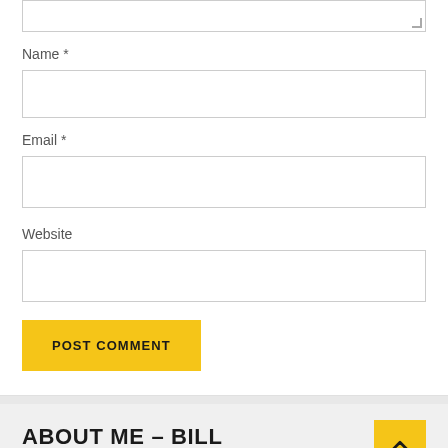Name *
Email *
Website
POST COMMENT
ABOUT ME – BILL
[Figure (photo): Green grass/lawn photo at the bottom of the page]